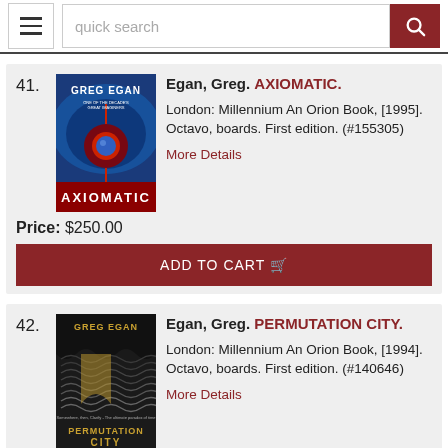quick search
41. Egan, Greg. AXIOMATIC. London: Millennium An Orion Book, [1995]. Octavo, boards. First edition. (#155305) More Details Price: $250.00 ADD TO CART
42. Egan, Greg. PERMUTATION CITY. London: Millennium An Orion Book, [1994]. Octavo, boards. First edition. (#140646) More Details